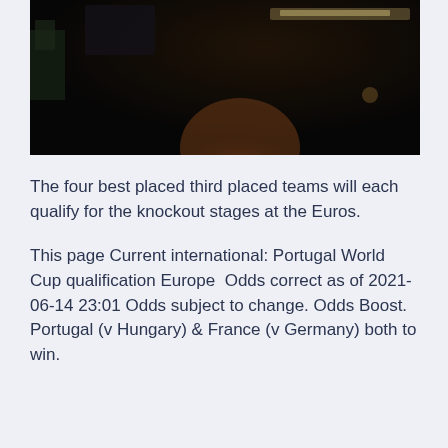[Figure (photo): Dark, blurry photo showing what appears to be a person's head/back in a dimly lit environment with warm tones]
The four best placed third placed teams will each qualify for the knockout stages at the Euros.
This page Current international: Portugal World Cup qualification Europe  Odds correct as of 2021-06-14 23:01 Odds subject to change. Odds Boost. Portugal (v Hungary) & France (v Germany) both to win.